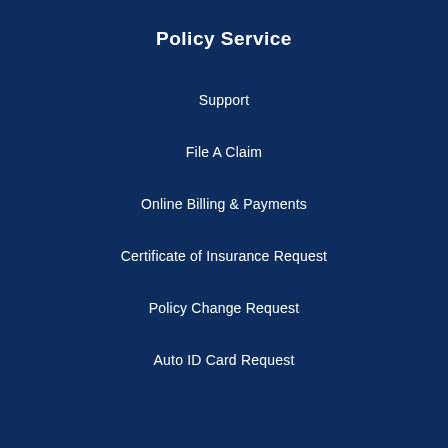Policy Service
Support
File A Claim
Online Billing & Payments
Certificate of Insurance Request
Policy Change Request
Auto ID Card Request